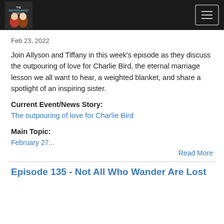The Sisterhood Podcast
Feb 23, 2022
Join Allyson and Tiffany in this week's episode as they discuss the outpouring of love for Charlie Bird, the eternal marriage lesson we all want to hear, a weighted blanket, and share a spotlight of an inspiring sister.
Current Event/News Story:
The outpouring of love for Charlie Bird
Main Topic:
February 27...
Read More
Episode 135 - Not All Who Wander Are Lost